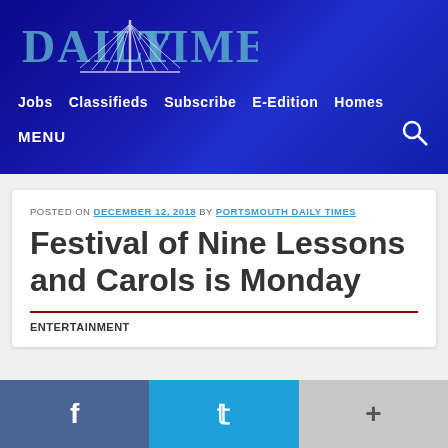[Figure (logo): Daily Times newspaper logo with bridge/tower graphic on blue gradient background]
Jobs  Classifieds  Subscribe  E-Edition  Homes
MENU
POSTED ON DECEMBER 12, 2018 BY PORTSMOUTH DAILY TIMES
Festival of Nine Lessons and Carols is Monday
ENTERTAINMENT